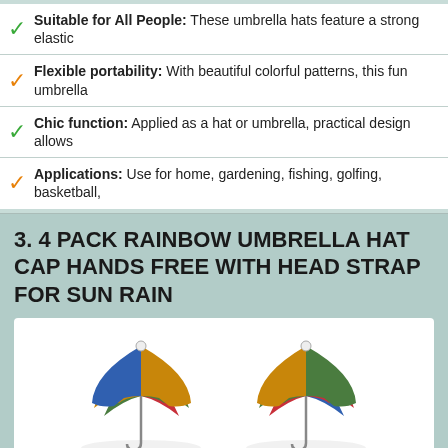✓ Suitable for All People: These umbrella hats feature a strong elastic
✓ Flexible portability: With beautiful colorful patterns, this fun umbrella
✓ Chic function: Applied as a hat or umbrella, practical design allows
✓ Applications: Use for home, gardening, fishing, golfing, basketball,
3. 4 PACK RAINBOW UMBRELLA HAT CAP HANDS FREE WITH HEAD STRAP FOR SUN RAIN
[Figure (photo): Four rainbow-colored umbrella hats arranged in a 2x2 grid, each showing green, red, blue, and yellow/tan colored panels viewed from above]
Shop On Amazon